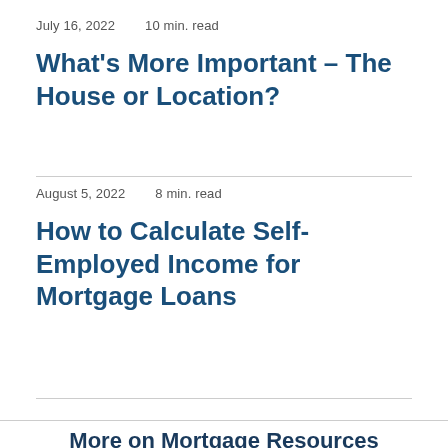July 16, 2022    10 min. read
What’s More Important – The House or Location?
August 5, 2022    8 min. read
How to Calculate Self-Employed Income for Mortgage Loans
More on Mortgage Resources